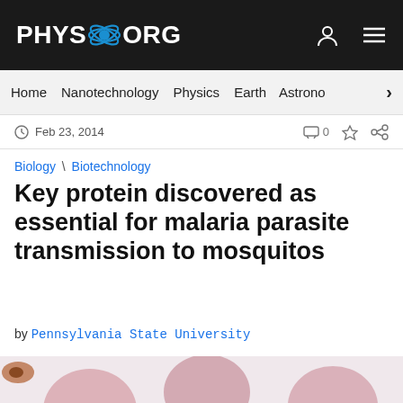PHYS.ORG
Home  Nanotechnology  Physics  Earth  Astronomy  >
Feb 23, 2014   0
Biology \ Biotechnology
Key protein discovered as essential for malaria parasite transmission to mosquitos
by Pennsylvania State University
[Figure (photo): Microscopic image of malaria parasites (blue/dark colored cells) among red blood cells on a light pink/white background]